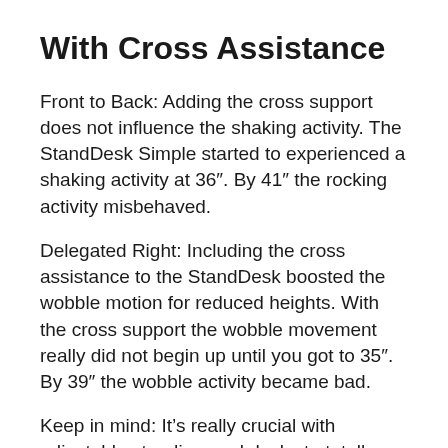With Cross Assistance
Front to Back: Adding the cross support does not influence the shaking activity. The StandDesk Simple started to experienced a shaking activity at 36″. By 41″ the rocking activity misbehaved.
Delegated Right: Including the cross assistance to the StandDesk boosted the wobble motion for reduced heights. With the cross support the wobble movement really did not begin up until you got to 35″. By 39″ the wobble activity became bad.
Keep in mind: It’s really crucial with adjustable standing workdesks to totally tighten up all equipment. If there is